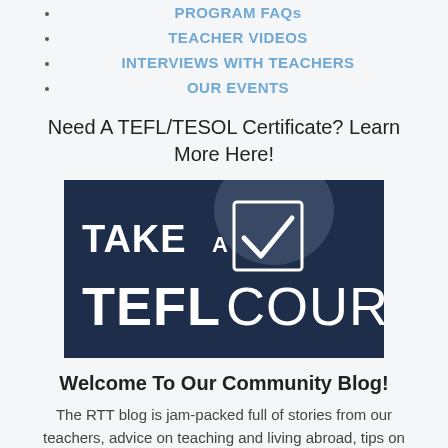PROGRAM FAQs
TEACHER VIDEOS
INTERVIEWS WITH TEACHERS
OUR EVENTS
Need A TEFL/TESOL Certificate? Learn More Here!
[Figure (illustration): Dark navy blue banner with text 'TAKE A [checkbox icon] TEFL COURSE' in white bold letters]
Welcome To Our Community Blog!
The RTT blog is jam-packed full of stories from our teachers, advice on teaching and living abroad, tips on job